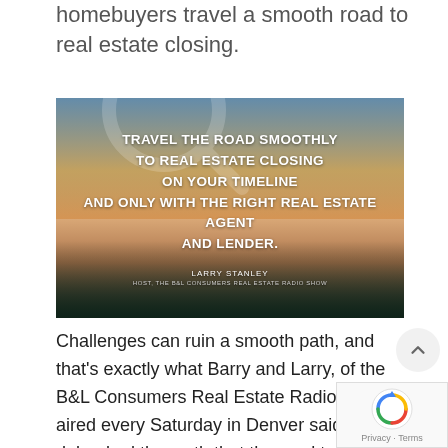homebuyers travel a smooth road to real estate closing.
[Figure (photo): Promotional image with cityscape/buildings at sunset and overlaid text: 'TRAVEL THE ROAD SMOOTHLY TO REAL ESTATE CLOSING ON YOUR TIMELINE AND ONLY WITH THE RIGHT REAL ESTATE AGENT AND LENDER.' Attribution: LARRY STANLEY, HOST, THE B&L CONSUMERS REAL ESTATE RADIO SHOW]
Challenges can ruin a smooth path, and that's exactly what Barry and Larry, of the B&L Consumers Real Estate Radio Show, aired every Saturday in Denver said. They debunked the myth that the road to closing is always tough. While there's truth to that statement, what the pair want to highlight is the fact